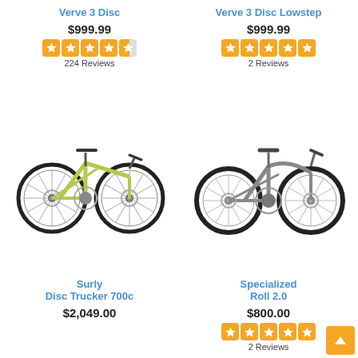Verve 3 Disc
$999.99
224 Reviews
Verve 3 Disc Lowstep
$999.99
2 Reviews
[Figure (photo): Green road/hybrid bicycle - Surly Disc Trucker 700c]
[Figure (photo): Gray cruiser bicycle - Specialized Roll 2.0]
Surly
Disc Trucker 700c
$2,049.00
Specialized
Roll 2.0
$800.00
2 Reviews